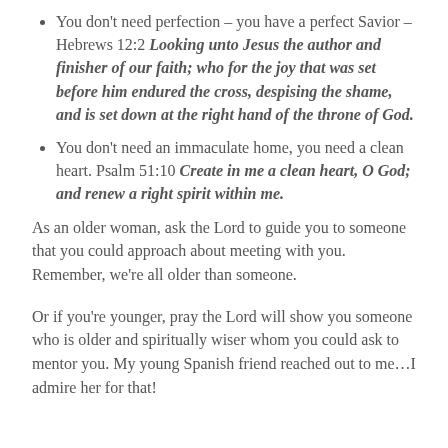You don't need perfection – you have a perfect Savior – Hebrews 12:2 Looking unto Jesus the author and finisher of our faith; who for the joy that was set before him endured the cross, despising the shame, and is set down at the right hand of the throne of God.
You don't need an immaculate home, you need a clean heart. Psalm 51:10 Create in me a clean heart, O God; and renew a right spirit within me.
As an older woman, ask the Lord to guide you to someone that you could approach about meeting with you. Remember, we're all older than someone.
Or if you're younger, pray the Lord will show you someone who is older and spiritually wiser whom you could ask to mentor you. My young Spanish friend reached out to me…I admire her for that!